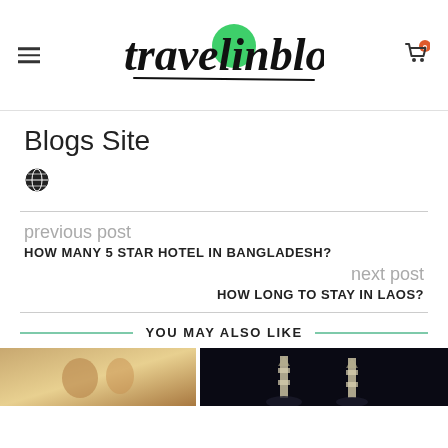travelinblogs — Blogs Site
Blogs Site
[Figure (illustration): Globe/world icon]
previous post
HOW MANY 5 STAR HOTEL IN BANGLADESH?
next post
HOW LONG TO STAY IN LAOS?
YOU MAY ALSO LIKE
[Figure (photo): Two thumbnail images for related blog posts]
[Figure (photo): Dark thumbnail with illuminated towers/structures at night]